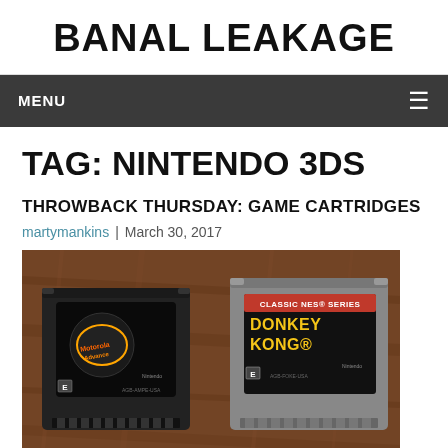BANAL LEAKAGE
MENU
TAG: NINTENDO 3DS
THROWBACK THURSDAY: GAME CARTRIDGES
martymankins | March 30, 2017
[Figure (photo): Two Game Boy Advance cartridges on a wooden surface. Left: Motorola Advance (black cartridge). Right: Classic NES Series Donkey Kong (gray cartridge).]